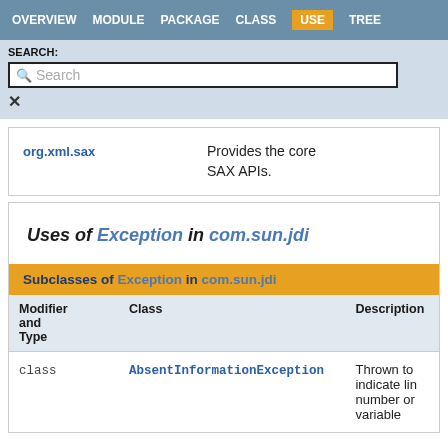OVERVIEW  MODULE  PACKAGE  CLASS  USE  TREE
SEARCH:
Search
|  |  |
| --- | --- |
| org.xml.sax | Provides the core SAX APIs. |
Uses of Exception in com.sun.jdi
Subclasses of Exception in com.sun.jdi
| Modifier and Type | Class | Description |
| --- | --- | --- |
| class | AbsentInformationException | Thrown to indicate line number or variable |